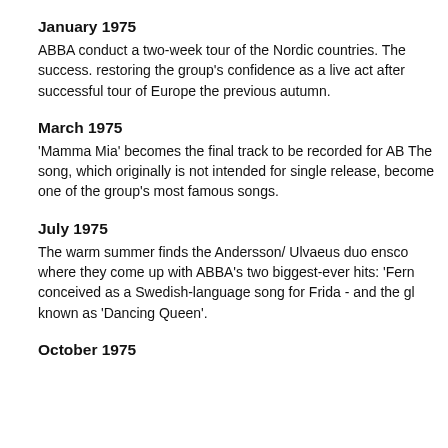January 1975
ABBA conduct a two-week tour of the Nordic countries. The success. restoring the group's confidence as a live act after successful tour of Europe the previous autumn.
March 1975
'Mamma Mia' becomes the final track to be recorded for AB The song, which originally is not intended for single release, become one of the group's most famous songs.
July 1975
The warm summer finds the Andersson/ Ulvaeus duo ensco where they come up with ABBA's two biggest-ever hits: 'Fern conceived as a Swedish-language song for Frida - and the gl known as 'Dancing Queen'.
October 1975